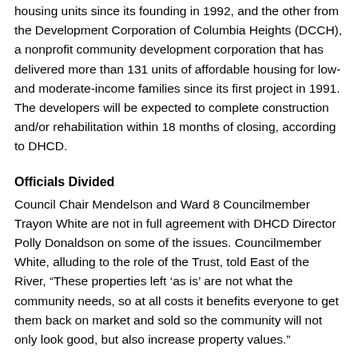housing units since its founding in 1992, and the other from the Development Corporation of Columbia Heights (DCCH), a nonprofit community development corporation that has delivered more than 131 units of affordable housing for low- and moderate-income families since its first project in 1991. The developers will be expected to complete construction and/or rehabilitation within 18 months of closing, according to DHCD.
Officials Divided
Council Chair Mendelson and Ward 8 Councilmember Trayon White are not in full agreement with DHCD Director Polly Donaldson on some of the issues. Councilmember White, alluding to the role of the Trust, told East of the River, “These properties left ‘as is’ are not what the community needs, so at all costs it benefits everyone to get them back on market and sold so the community will not only look good, but also increase property values.”